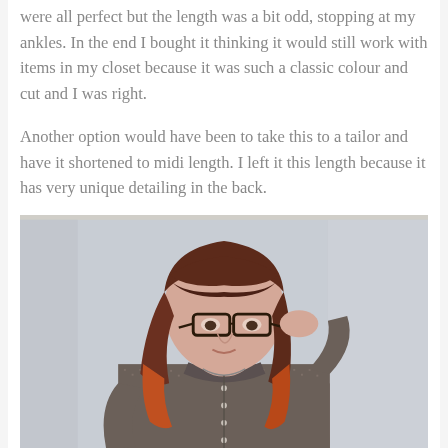were all perfect but the length was a bit odd, stopping at my ankles. In the end I bought it thinking it would still work with items in my closet because it was such a classic colour and cut and I was right.
Another option would have been to take this to a tailor and have it shortened to midi length. I left it this length because it has very unique detailing in the back.
[Figure (photo): A woman with auburn/red hair and bangs wearing dark-framed glasses and a patterned button-up shirt or dress, posing with one hand near her ear against a light grey background.]